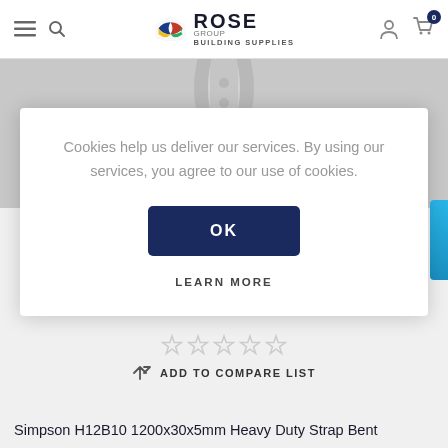[Figure (logo): Rose Group Building Supplies logo with colorful wave/shield icon]
[Figure (photo): Partial product photo - metal strap/bracket visible at top]
Cookies help us deliver our services. By using our services, you agree to our use of cookies.
OK
LEARN MORE
[Figure (other): Five empty star rating icons]
ADD TO COMPARE LIST
Simpson H12B10 1200x30x5mm Heavy Duty Strap Bent